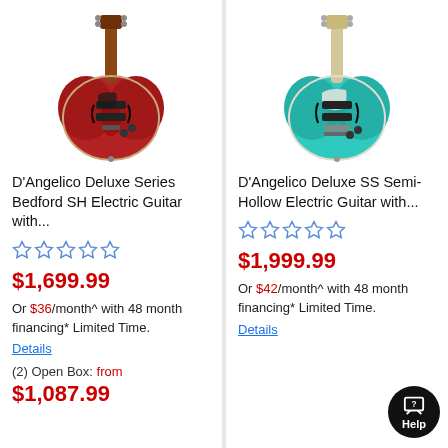[Figure (photo): Red D'Angelico semi-hollow electric guitar, seen from front, upper portion visible]
D'Angelico Deluxe Series Bedford SH Electric Guitar with...
★★★★★ (empty stars rating)
$1,699.99
Or $36/month^ with 48 month financing* Limited Time.
Details
(2) Open Box: from
$1,087.99
[Figure (photo): Teal/turquoise D'Angelico semi-hollow electric guitar, seen from front, upper portion visible]
D'Angelico Deluxe SS Semi-Hollow Electric Guitar with...
★★★★★ (empty stars rating)
$1,999.99
Or $42/month^ with 48 month financing* Limited Time.
Details